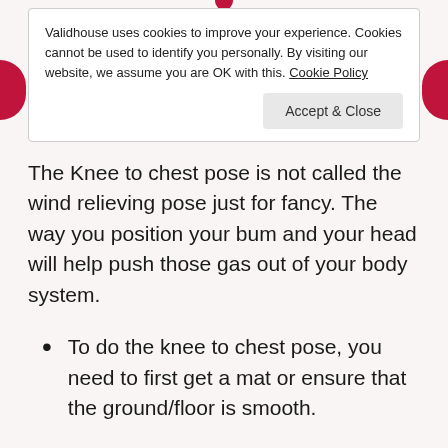Validhouse uses cookies to improve your experience. Cookies cannot be used to identify you personally. By visiting our website, we assume you are OK with this. Cookie Policy
Accept & Close
The Knee to chest pose is not called the wind relieving pose just for fancy. The way you position your bum and your head will help push those gas out of your body system.
To do the knee to chest pose, you need to first get a mat or ensure that the ground/floor is smooth.
Now, lay backward and bring